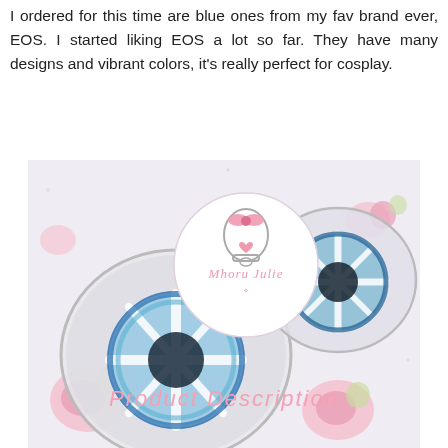I ordered for this time are blue ones from my fav brand ever, EOS. I started liking EOS a lot so far. They have many designs and vibrant colors, it's really perfect for cosplay.
[Figure (photo): Two clear plastic contact lens cases open, each containing a decorative blue circle lens with white starburst pattern. Between them is a round logo sticker featuring a pink bow, a bell, and the text 'Mhoru Julie'. Background is a soft pink floral pattern with roses and green leaves on a white/silver glittery surface.]
Product Description